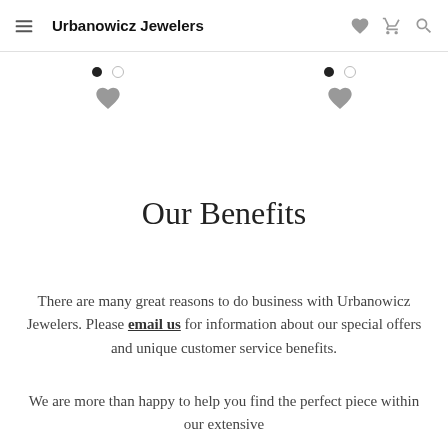Urbanowicz Jewelers
[Figure (illustration): Two product carousel dot indicators with filled dots and heart/wishlist icons below each]
Our Benefits
There are many great reasons to do business with Urbanowicz Jewelers. Please email us for information about our special offers and unique customer service benefits.
We are more than happy to help you find the perfect piece within our extensive